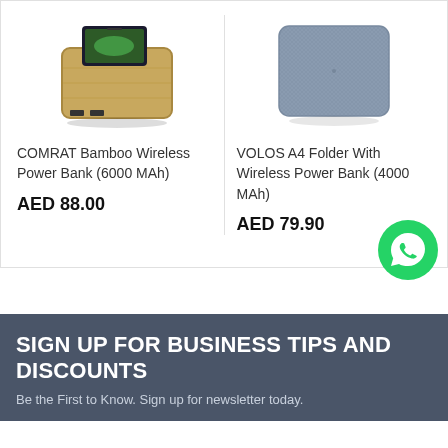[Figure (photo): COMRAT Bamboo Wireless Power Bank product image - gold/bamboo colored power bank with phone on top]
COMRAT Bamboo Wireless Power Bank (6000 MAh)
AED 88.00
[Figure (photo): VOLOS A4 Folder With Wireless Power Bank product image - gray fabric folder]
VOLOS A4 Folder With Wireless Power Bank (4000 MAh)
AED 79.90
[Figure (logo): WhatsApp green circle button with phone icon]
SIGN UP FOR BUSINESS TIPS AND DISCOUNTS
Be the First to Know. Sign up for newsletter today.